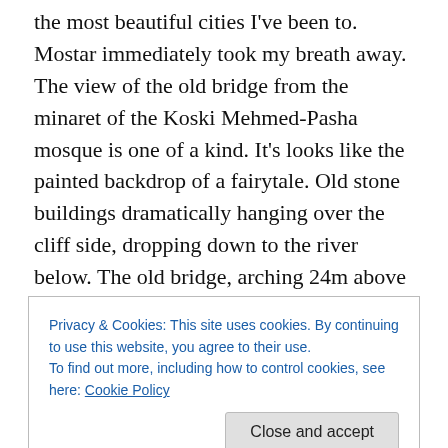the most beautiful cities I've been to. Mostar immediately took my breath away. The view of the old bridge from the minaret of the Koski Mehmed-Pasha mosque is one of a kind. It's looks like the painted backdrop of a fairytale. Old stone buildings dramatically hanging over the cliff side, dropping down to the river below. The old bridge, arching 24m above the icy currents, is one of the most perfect postcard settings I've seen in Europe yet. The old town is bustling with markets and restaurants, locals sit all afternoon in coffee shops, drinking Bosnian coffee and chatting with friends in the late October sunshine. It's so
Privacy & Cookies: This site uses cookies. By continuing to use this website, you agree to their use.
To find out more, including how to control cookies, see here: Cookie Policy
But this is just the surface of the city. This is the image that